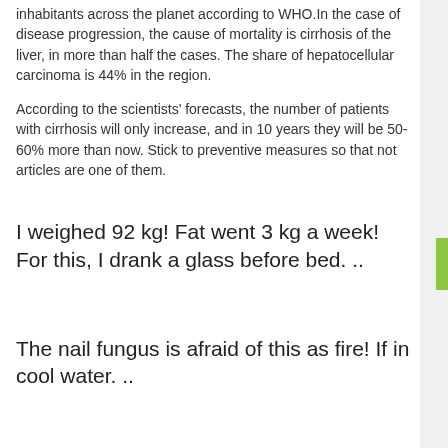inhabitants across the planet according to WHO.In the case of disease progression, the cause of mortality is cirrhosis of the liver, in more than half the cases. The share of hepatocellular carcinoma is 44% in the region.
According to the scientists' forecasts, the number of patients with cirrhosis will only increase, and in 10 years they will be 50-60% more than now. Stick to preventive measures so that not articles are one of them.
I weighed 92 kg! Fat went 3 kg a week! For this, I drank a glass before bed. ..
The nail fungus is afraid of this as fire! If in cool water. ..